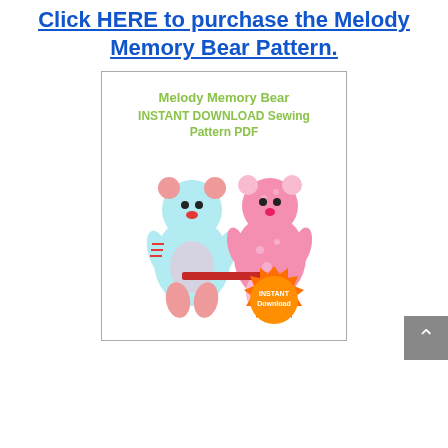Click HERE to purchase the Melody Memory Bear Pattern.
[Figure (illustration): Product listing image for Melody Memory Bear INSTANT DOWNLOAD Sewing Pattern PDF, showing two handmade stuffed bears — one in blue/red patchwork fabric and one in pink spotted fabric — with an orange 'INSTANT Download' burst badge in the lower right corner.]